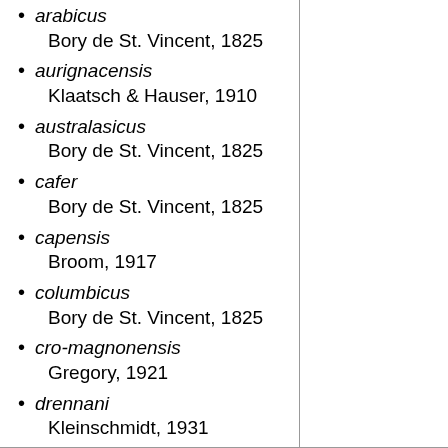arabicus
Bory de St. Vincent, 1825
aurignacensis
Klaatsch & Hauser, 1910
australasicus
Bory de St. Vincent, 1825
cafer
Bory de St. Vincent, 1825
capensis
Broom, 1917
columbicus
Bory de St. Vincent, 1825
cro-magnonensis
Gregory, 1921
drennani
Kleinschmidt, 1931
ourafricanus